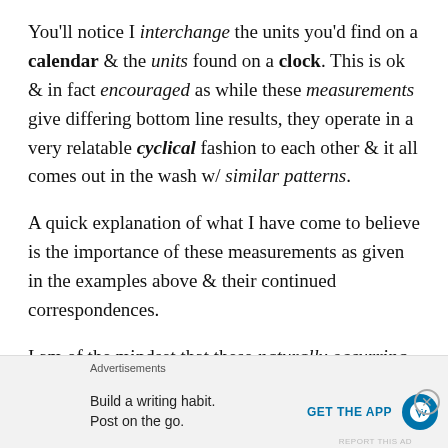You'll notice I interchange the units you'd find on a calendar & the units found on a clock. This is ok & in fact encouraged as while these measurements give differing bottom line results, they operate in a very relatable cyclical fashion to each other & it all comes out in the wash w/ similar patterns.
A quick explanation of what I have come to believe is the importance of these measurements as given in the examples above & their continued correspondences.
I am of the mindset that these naturally occurring patterns exist everywhere & with everyone, not just Big
Advertisements
Build a writing habit. Post on the go. GET THE APP